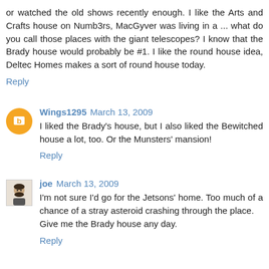or watched the old shows recently enough. I like the Arts and Crafts house on Numb3rs, MacGyver was living in a ... what do you call those places with the giant telescopes? I know that the Brady house would probably be #1. I like the round house idea, Deltec Homes makes a sort of round house today.
Reply
Wings1295  March 13, 2009
I liked the Brady's house, but I also liked the Bewitched house a lot, too. Or the Munsters' mansion!
Reply
joe  March 13, 2009
I'm not sure I'd go for the Jetsons' home. Too much of a chance of a stray asteroid crashing through the place. Give me the Brady house any day.
Reply